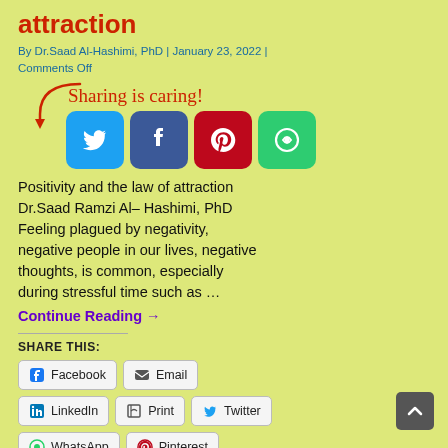attraction
By Dr.Saad Al-Hashimi, PhD | January 23, 2022 | Comments Off
[Figure (infographic): Sharing is caring! text with a red arrow pointing to four social media icon buttons: Twitter (blue), Facebook (dark blue), Pinterest (red), and a green share icon.]
Positivity and the law of attraction Dr.Saad Ramzi Al- Hashimi, PhD Feeling plagued by negativity, negative people in our lives, negative thoughts, is common, especially during stressful time such as …
Continue Reading →
SHARE THIS:
Facebook
Email
LinkedIn
Print
Twitter
WhatsApp
Pinterest